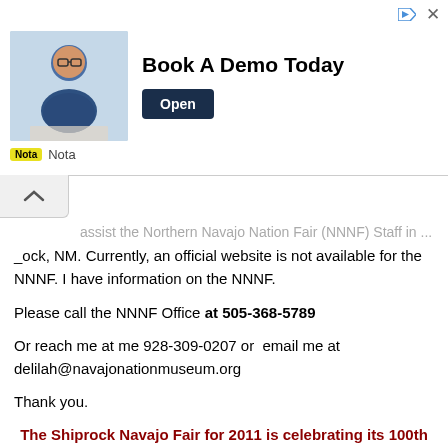[Figure (other): Advertisement banner: 'Book A Demo Today' with photo of man in glasses, Open button, and Nota brand logo]
assist the Northern Navajo Nation Fair (NNNF) Staff in ...rock, NM. Currently, an official website is not available for the NNNF. I have information on the NNNF.
Please call the NNNF Office at 505-368-5789
Or reach me at me 928-309-0207 or email me at delilah@navajonationmuseum.org
Thank you.
The Shiprock Navajo Fair for 2011 is celebrating its 100th year anniversary.
Shiprock Northern Navajo Nation Fair for 2011 theme: 100 Years of Harvesting and Healing as we teach our